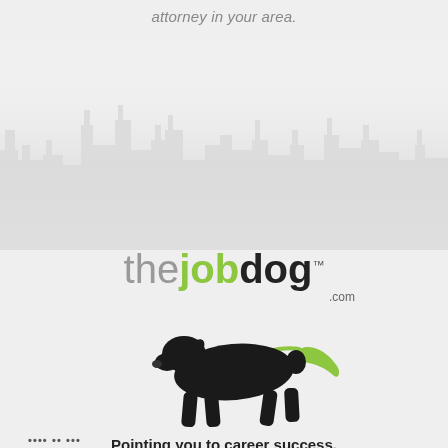attorney in your area.
[Figure (illustration): City skyline silhouette in light gray as background decoration]
[Figure (logo): TheJobDog.com logo with black dog silhouette on leash with green leash, text 'thejobdog.com' with 'the' in gray, 'job' in green, 'dog' in black, and tagline 'Pointing you to career success.']
Pointing you to career success.